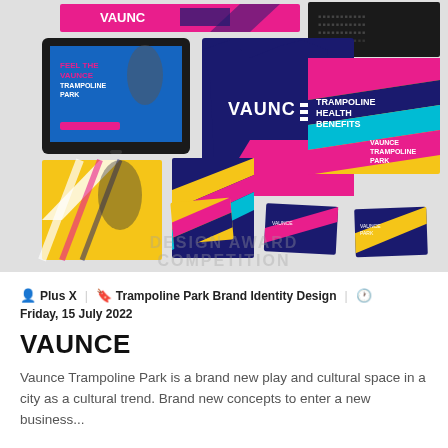[Figure (photo): Brand identity design collage for Vaunce Trampoline Park showing colorful banner, tablet mockup, navy t-shirt with Vaunce logo, brochures, business cards, and promotional materials in bright pink, yellow, teal, and navy colors on a light gray background. Watermark text reads 'DESIGN AWARD COMPETITION'.]
Plus X  Trampoline Park Brand Identity Design  Friday, 15 July 2022
VAUNCE
Vaunce Trampoline Park is a brand new play and cultural space in a city as a cultural trend. Brand new concepts to enter a new business...